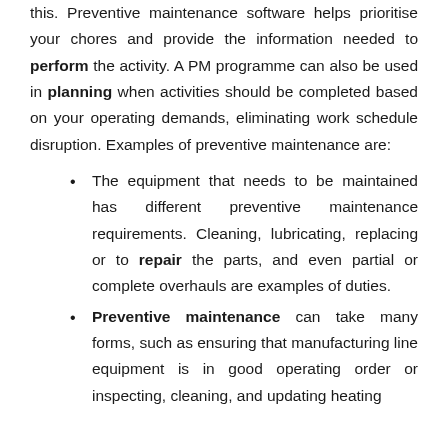this. Preventive maintenance software helps prioritise your chores and provide the information needed to perform the activity. A PM programme can also be used in planning when activities should be completed based on your operating demands, eliminating work schedule disruption. Examples of preventive maintenance are:
The equipment that needs to be maintained has different preventive maintenance requirements. Cleaning, lubricating, replacing or to repair the parts, and even partial or complete overhauls are examples of duties.
Preventive maintenance can take many forms, such as ensuring that manufacturing line equipment is in good operating order or inspecting, cleaning, and updating heating